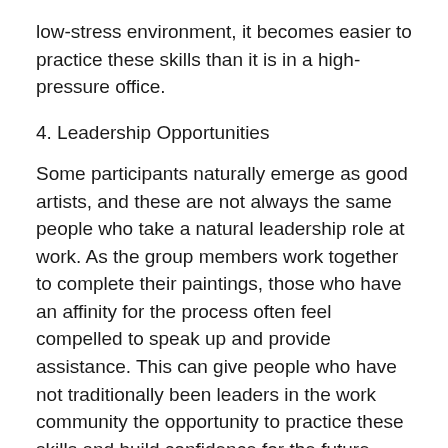low-stress environment, it becomes easier to practice these skills than it is in a high-pressure office.
4. Leadership Opportunities
Some participants naturally emerge as good artists, and these are not always the same people who take a natural leadership role at work. As the group members work together to complete their paintings, those who have an affinity for the process often feel compelled to speak up and provide assistance. This can give people who have not traditionally been leaders in the work community the opportunity to practice these skills and build confidence for the future.
5. Collaboration Possibilities
At the end of the day, art will connect people and